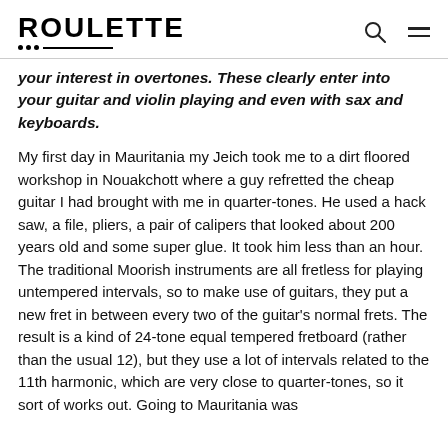ROULETTE
your interest in overtones. These clearly enter into your guitar and violin playing and even with sax and keyboards.
My first day in Mauritania my Jeich took me to a dirt floored workshop in Nouakchott where a guy refretted the cheap guitar I had brought with me in quarter-tones. He used a hack saw, a file, pliers, a pair of calipers that looked about 200 years old and some super glue. It took him less than an hour. The traditional Moorish instruments are all fretless for playing untempered intervals, so to make use of guitars, they put a new fret in between every two of the guitar's normal frets. The result is a kind of 24-tone equal tempered fretboard (rather than the usual 12), but they use a lot of intervals related to the 11th harmonic, which are very close to quarter-tones, so it sort of works out. Going to Mauritania was